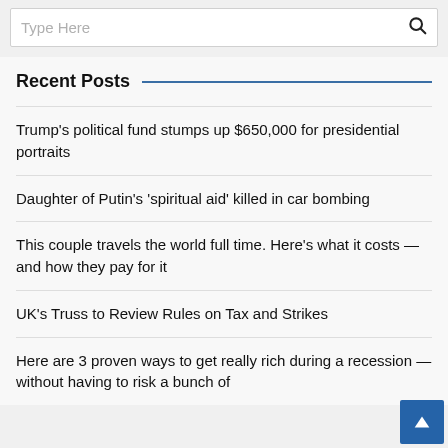[Figure (screenshot): Search bar with placeholder text 'Type Here' and a magnifying glass search icon on the right]
Recent Posts
Trump's political fund stumps up $650,000 for presidential portraits
Daughter of Putin's 'spiritual aid' killed in car bombing
This couple travels the world full time. Here's what it costs — and how they pay for it
UK's Truss to Review Rules on Tax and Strikes
Here are 3 proven ways to get really rich during a recession — without having to risk a bunch of